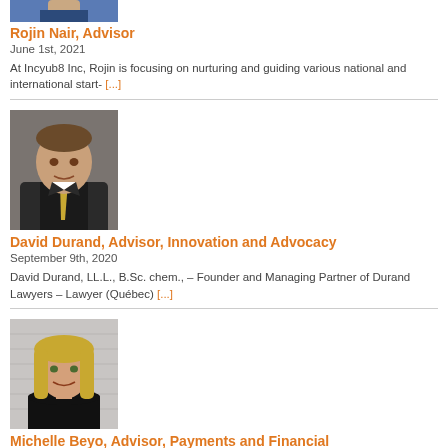[Figure (photo): Top-cropped photo of Rojin Nair]
Rojin Nair, Advisor
June 1st, 2021
At Incyub8 Inc, Rojin is focusing on nurturing and guiding various national and international start- [...]
[Figure (photo): Professional headshot of David Durand in suit with yellow tie]
David Durand, Advisor, Innovation and Advocacy
September 9th, 2020
David Durand, LL.L., B.Sc. chem., – Founder and Managing Partner of Durand Lawyers – Lawyer (Québec) [...]
[Figure (photo): Photo of Michelle Beyo, blonde woman in black top]
Michelle Beyo, Advisor, Payments and Financial Inclusivity